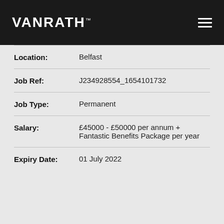VANRATH
| Field | Value |
| --- | --- |
| Location: | Belfast |
| Job Ref: | J234928554_1654101732 |
| Job Type: | Permanent |
| Salary: | £45000 - £50000 per annum + Fantastic Benefits Package per year |
| Expiry Date: | 01 July 2022 |